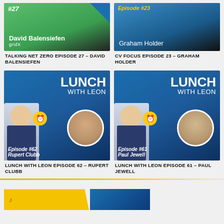[Figure (photo): Talking Net Zero Episode 27 thumbnail – David Balensiefen, gridX, green branded podcast cover]
[Figure (photo): CV Focus Episode 23 thumbnail – Graham Holder, blue branded podcast cover]
TALKING NET ZERO EPISODE 27 – DAVID BALENSIEFEN
CV FOCUS EPISODE 23 – GRAHAM HOLDER
[Figure (photo): Lunch With Leon Episode 62 – Rupert Clubb podcast thumbnail, blue background]
[Figure (photo): Lunch With Leon Episode 61 – Paul Jewell podcast thumbnail, blue background]
LUNCH WITH LEON EPISODE 62 – RUPERT CLUBB
LUNCH WITH LEON EPISODE 61 – PAUL JEWELL